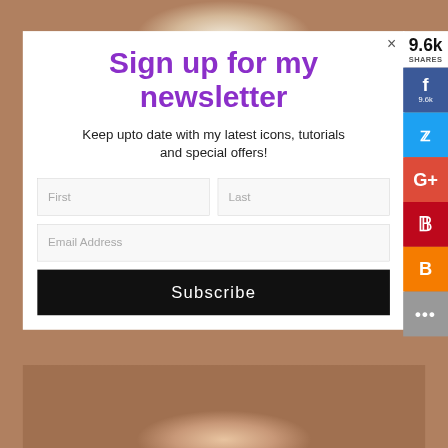[Figure (screenshot): Website popup modal with newsletter signup form on a decorative background with social sharing sidebar. Close button (×) at top right of modal. Title 'Sign up for my newsletter' in purple. Body text 'Keep upto date with my latest icons, tutorials and special offers!'. Form fields for First name, Last name, and Email Address. Black Subscribe button. Social sharing sidebar showing 9.6k shares with Facebook (9.6k), Twitter, Google+, Pinterest, Blogger, and more (•••) buttons.]